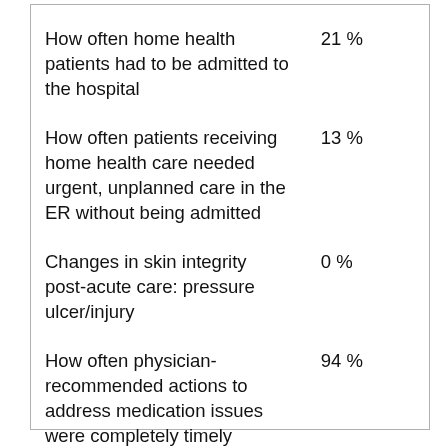| Measure | Value |
| --- | --- |
| How often home health patients had to be admitted to the hospital | 21 % |
| How often patients receiving home health care needed urgent, unplanned care in the ER without being admitted | 13 % |
| Changes in skin integrity post-acute care: pressure ulcer/injury | 0 % |
| How often physician-recommended actions to address medication issues were completely timely | 94 % |